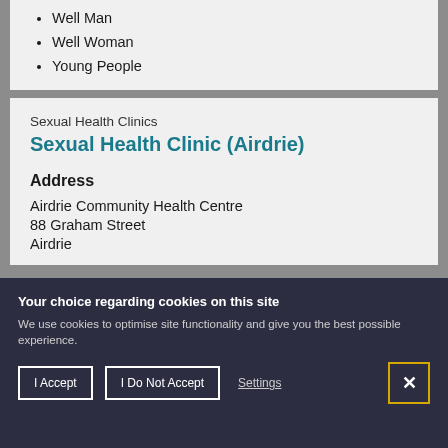Well Man
Well Woman
Young People
Sexual Health Clinics
Sexual Health Clinic (Airdrie)
Address
Airdrie Community Health Centre
88 Graham Street
Airdrie
Your choice regarding cookies on this site
We use cookies to optimise site functionality and give you the best possible experience.